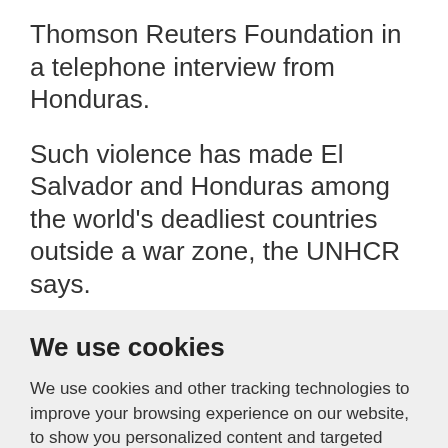Thomson Reuters Foundation in a telephone interview from Honduras.
Such violence has made El Salvador and Honduras among the world's deadliest countries outside a war zone, the UNHCR says.
B... (partially visible, cut off)
We use cookies
We use cookies and other tracking technologies to improve your browsing experience on our website, to show you personalized content and targeted ads, to analyze our website traffic, and to understand where our visitors are coming from.